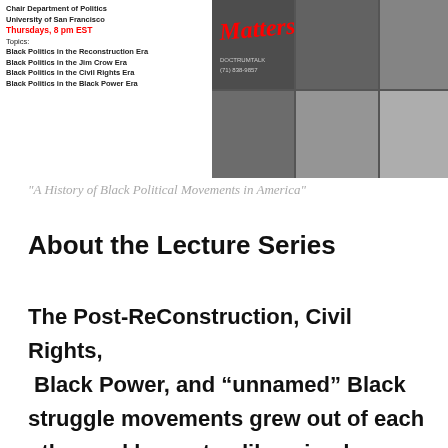[Figure (photo): Banner image showing a photo collage of Black political figures and activists, with red italic text overlay reading 'Matters' and small text including a phone number. Left side shows text about Chair Department of Politics, University of San Francisco, Thursdays 8 pm EST, and lecture topics.]
“A History of Black Political Movements in America”
About the Lecture Series
The Post-ReConstruction, Civil Rights, Black Power, and “unnamed” Black struggle movements grew out of each other and have steadily gained momentum through 2020. Some were not